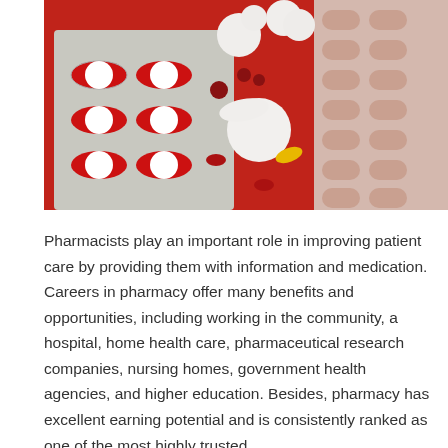[Figure (photo): Close-up photograph of various pharmaceutical pills and capsules in blister packs on a red background. Red and white capsules, white tablets, red gel capsules, a yellow capsule, and pink pills in blister packs are visible.]
Pharmacists play an important role in improving patient care by providing them with information and medication. Careers in pharmacy offer many benefits and opportunities, including working in the community, a hospital, home health care, pharmaceutical research companies, nursing homes, government health agencies, and higher education. Besides, pharmacy has excellent earning potential and is consistently ranked as one of the most highly trusted